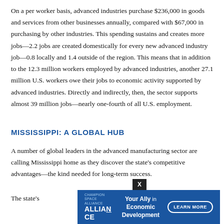On a per worker basis, advanced industries purchase $236,000 in goods and services from other businesses annually, compared with $67,000 in purchasing by other industries. This spending sustains and creates more jobs—2.2 jobs are created domestically for every new advanced industry job—0.8 locally and 1.4 outside of the region. This means that in addition to the 12.3 million workers employed by advanced industries, another 27.1 million U.S. workers owe their jobs to economic activity supported by advanced industries. Directly and indirectly, then, the sector supports almost 39 million jobs—nearly one-fourth of all U.S. employment.
MISSISSIPPI: A GLOBAL HUB
A number of global leaders in the advanced manufacturing sector are calling Mississippi home as they discover the state's competitive advantages—the kind needed for long-term success.
[Figure (infographic): Advertisement banner for Alliance Economic Development. Blue background with 'ALLIANCE' logo on left, tagline 'Your Ally in Economic Development' in center, and 'LEARN MORE' button on right. A close button (X) appears in the top-right corner of the banner.]
The state's...